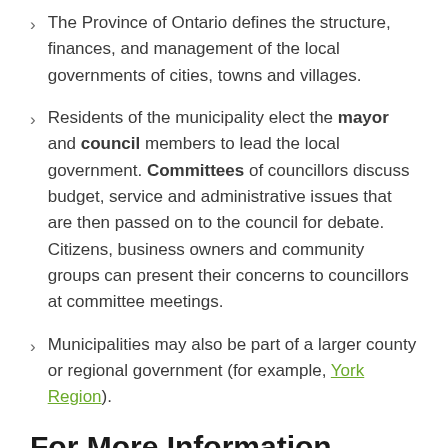The Province of Ontario defines the structure, finances, and management of the local governments of cities, towns and villages.
Residents of the municipality elect the mayor and council members to lead the local government. Committees of councillors discuss budget, service and administrative issues that are then passed on to the council for debate. Citizens, business owners and community groups can present their concerns to councillors at committee meetings.
Municipalities may also be part of a larger county or regional government (for example, York Region).
For More Information